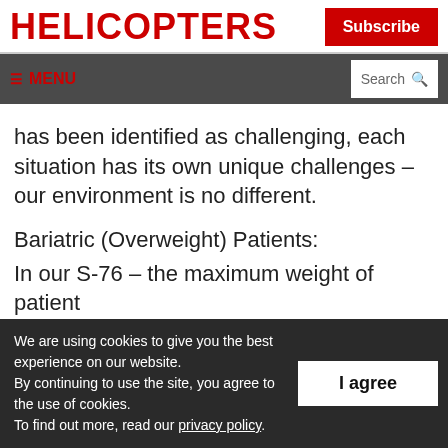HELICOPTERS | Subscribe
≡ MENU | Search
has been identified as challenging, each situation has its own unique challenges – our environment is no different.
Bariatric (Overweight) Patients:
In our S-76 – the maximum weight of patient and equipment was 500 lbs. This aircraft had
We are using cookies to give you the best experience on our website. By continuing to use the site, you agree to the use of cookies. To find out more, read our privacy policy.